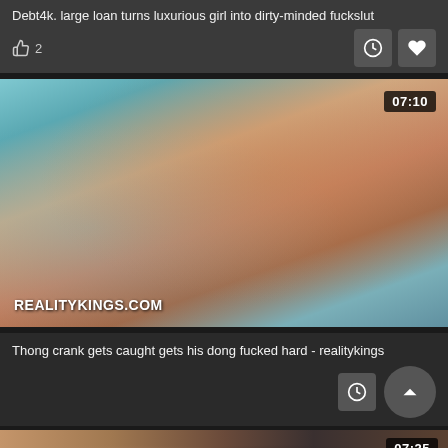Debt4k. large loan turns luxurious girl into dirty-minded fuckslut
2
[Figure (screenshot): Video thumbnail showing a woman in a red top on a blue bed, with REALITYKINGS.COM watermark and duration badge 07:10]
Thong crank gets caught gets his dong fucked hard - realitykings
[Figure (screenshot): Partial video thumbnail at bottom of page showing two people, with duration badge 07:25]